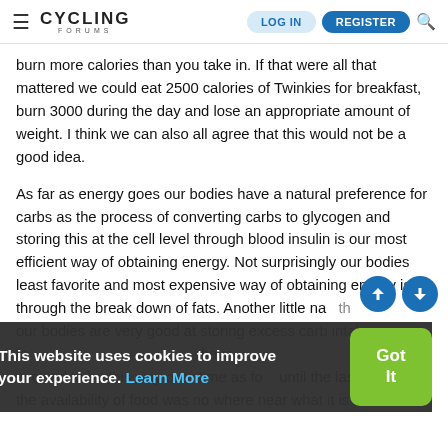CYCLING FORUMS — LOG IN | REGISTER
burn more calories than you take in. If that were all that mattered we could eat 2500 calories of Twinkies for breakfast, burn 3000 during the day and lose an appropriate amount of weight. I think we can also all agree that this would not be a good idea.
As far as energy goes our bodies have a natural preference for carbs as the process of converting carbs to glycogen and storing this at the cell level through blood insulin is our most efficient way of obtaining energy. Not surprisingly our bodies least favorite and most expensive way of obtaining energy is through the break down of fats. Another little na... th... our bodies are very good at storing excess carb intake as fa... have evolved to be this way over time as fo... until the last century the availability of food was no where near what it is now.
This website uses cookies to improve your experience. Learn More